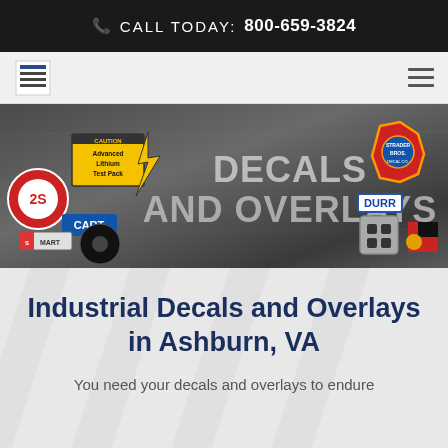CALL TODAY: 800-659-3824
[Figure (logo): Company logo in navigation bar]
[Figure (photo): Hero banner image showing various industrial decals, overlays, labels and patches on a dark metal background with large text 'DECALS AND OVERLAYS']
Industrial Decals and Overlays in Ashburn, VA
You need your decals and overlays to endure